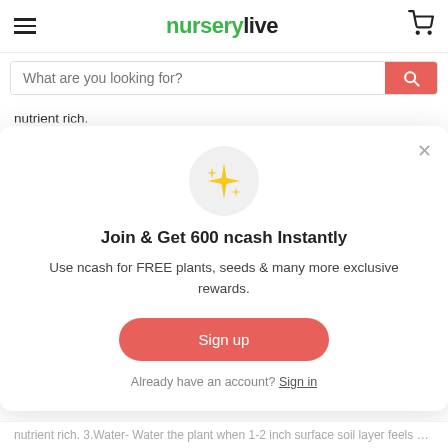nurserylive
[Figure (screenshot): Search bar with placeholder text 'What are you looking for?' and a coral/red search button with magnifier icon]
nutrient rich.
3.Water- Water the plant when 1-2 inch surface soil layer feels dry to touch
[Figure (infographic): Modal popup with sparkle emoji icon, title 'Join & Get 600 ncash Instantly', description 'Use ncash for FREE plants, seeds & many more exclusive rewards.', Sign up button, and 'Already have an account? Sign in' link]
nutrient rich. 3.Water- Water the plant when 1-2 inch surface soil layer feels dry to touch